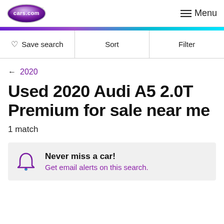cars.com  Menu
Save search  Sort  Filter
← 2020
Used 2020 Audi A5 2.0T Premium for sale near me
1 match
Never miss a car! Get email alerts on this search.